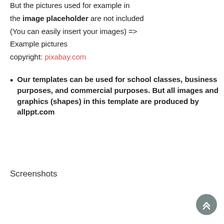But the pictures used for example in the image placeholder are not included (You can easily insert your images) => Example pictures copyright: pixabay.com
Our templates can be used for school classes, business purposes, and commercial purposes. But all images and graphics (shapes) in this template are produced by allppt.com
Screenshots